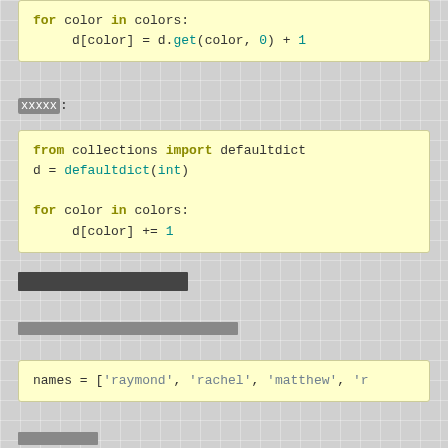[Figure (screenshot): Code block showing: for color in colors: / d[color] = d.get(color, 0) + 1]
xxxxx:
[Figure (screenshot): Code block showing: from collections import defaultdict / d = defaultdict(int) / for color in colors: / d[color] += 1]
[redacted section header]
[redacted body text]
[Figure (screenshot): Code block showing: names = ['raymond', 'rachel', 'matthew', 'r...]